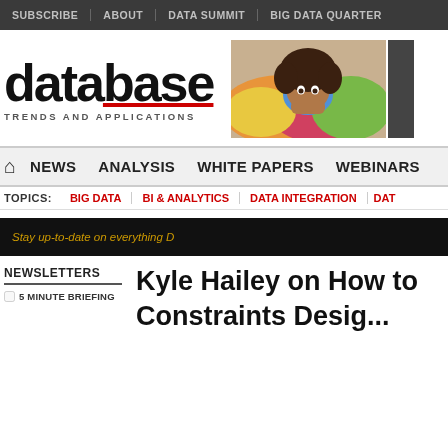SUBSCRIBE | ABOUT | DATA SUMMIT | BIG DATA QUARTER
[Figure (logo): Database Trends and Applications logo with red underline]
[Figure (photo): Person with afro hairstyle peeking over colorful pile of clothing]
NEWS | ANALYSIS | WHITE PAPERS | WEBINARS
TOPICS: BIG DATA | BI & ANALYTICS | DATA INTEGRATION | DAT
Stay up-to-date on everything D
NEWSLETTERS
5 MINUTE BRIEFING
Kyle Hailey on How to Constraints Desig...